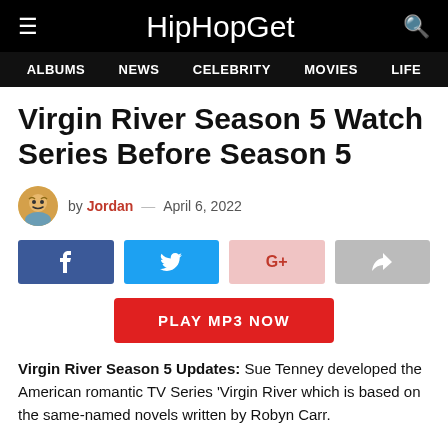HipHopGet — ALBUMS NEWS CELEBRITY MOVIES LIFE
Virgin River Season 5 Watch Series Before Season 5
by Jordan — April 6, 2022
[Figure (infographic): Social share buttons: Facebook, Twitter, Google+, Share]
[Figure (infographic): Red PLAY MP3 NOW button]
Virgin River Season 5 Updates: Sue Tenney developed the American romantic TV Series 'Virgin River which is based on the same-named novels written by Robyn Carr.